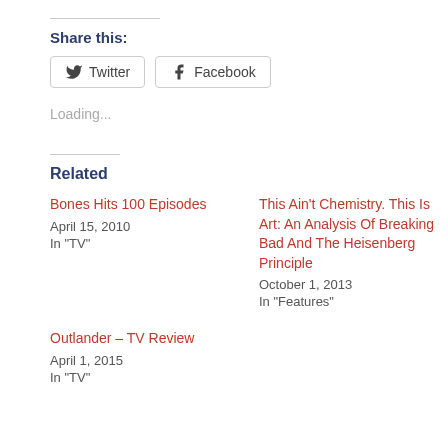Share this:
Twitter  Facebook
Loading...
Related
Bones Hits 100 Episodes
April 15, 2010
In "TV"
This Ain't Chemistry. This Is Art: An Analysis Of Breaking Bad And The Heisenberg Principle
October 1, 2013
In "Features"
Outlander – TV Review
April 1, 2015
In "TV"